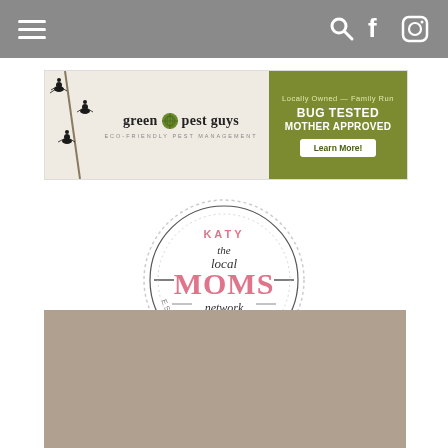Navigation header with hamburger menu and search, Facebook, Instagram icons
[Figure (illustration): Green Pest Guys advertisement banner. Left side shows ants on a branch with logo 'green pest guys - eco-friendly pest management'. Right olive-green side reads 'Locally Owned - Family Run / BUG TESTED / MOTHER APPROVED / Learn More!']
[Figure (logo): Katy The Local MOMS Network circular logo with 'ESTABLISHED 2018' text around the border]
[Figure (photo): Photo of a woman with dark curly hair holding a white object, wearing a dark patterned top. Slideshow arrows on left and right sides.]